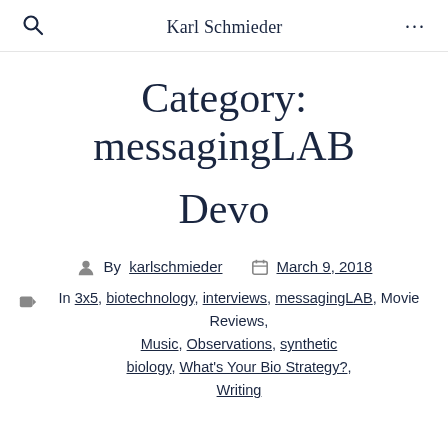Karl Schmieder
Category: messagingLAB
Devo
By karlschmieder   March 9, 2018
In 3x5, biotechnology, interviews, messagingLAB, Movie Reviews, Music, Observations, synthetic biology, What's Your Bio Strategy?, Writing